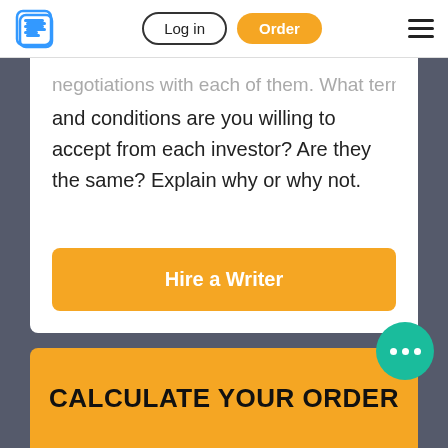Log in | Order
negotiations with each of them. What terms and conditions are you willing to accept from each investor? Are they the same? Explain why or why not.
Hire a Writer
CALCULATE YOUR ORDER